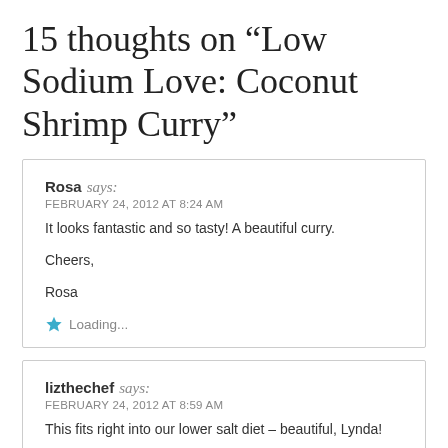15 thoughts on “Low Sodium Love: Coconut Shrimp Curry”
Rosa says:
FEBRUARY 24, 2012 AT 8:24 AM
It looks fantastic and so tasty! A beautiful curry.

Cheers,

Rosa

Loading...
lizthechef says:
FEBRUARY 24, 2012 AT 8:59 AM
This fits right into our lower salt diet – beautiful, Lynda!

Loading...